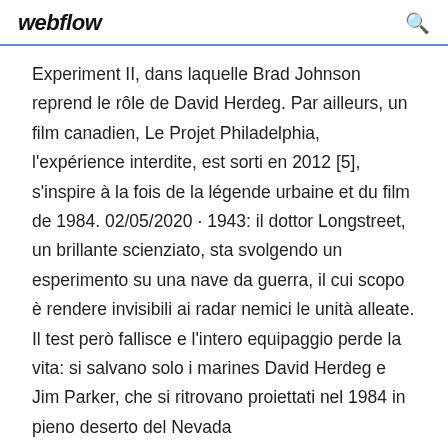webflow
Experiment II, dans laquelle Brad Johnson reprend le rôle de David Herdeg. Par ailleurs, un film canadien, Le Projet Philadelphia, l'expérience interdite, est sorti en 2012 [5], s'inspire à la fois de la légende urbaine et du film de 1984. 02/05/2020 · 1943: il dottor Longstreet, un brillante scienziato, sta svolgendo un esperimento su una nave da guerra, il cui scopo è rendere invisibili ai radar nemici le unità alleate. Il test però fallisce e l'intero equipaggio perde la vita: si salvano solo i marines David Herdeg e Jim Parker, che si ritrovano proiettati nel 1984 in pieno deserto del Nevada